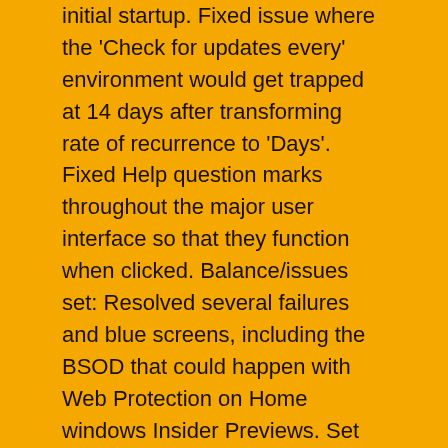initial startup. Fixed issue where the 'Check for updates every' environment would get trapped at 14 days after transforming rate of recurrence to 'Days'. Fixed Help question marks throughout the major user interface so that they function when clicked. Balance/issues set: Resolved several failures and blue screens, including the BSOD that could happen with Web Protection on Home windows Insider Previews. Set the issue with Exploit Security that caused Advantage to impact/hang on Home windows Insider Previews. Fixed issue when Exploit Protection was enabled that caused PowerPoint to not really load.